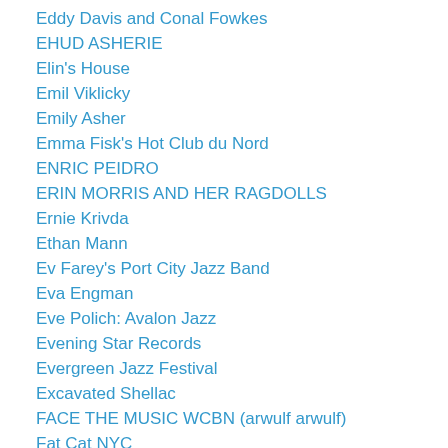Eddy Davis and Conal Fowkes
EHUD ASHERIE
Elin's House
Emil Viklicky
Emily Asher
Emma Fisk's Hot Club du Nord
ENRIC PEIDRO
ERIN MORRIS AND HER RAGDOLLS
Ernie Krivda
Ethan Mann
Ev Farey's Port City Jazz Band
Eva Engman
Eve Polich: Avalon Jazz
Evening Star Records
Evergreen Jazz Festival
Excavated Shellac
FACE THE MUSIC WCBN (arwulf arwulf)
Fat Cat NYC
Felix Lemerle
FindTheBest Jazz Clubs